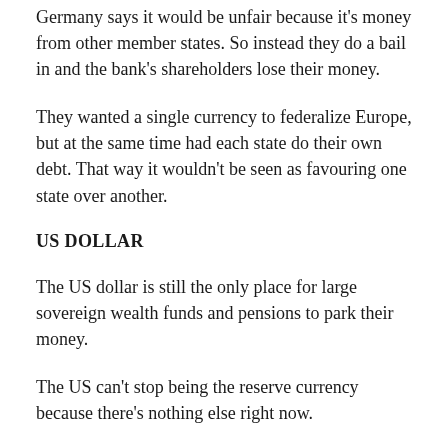Germany says it would be unfair because it's money from other member states. So instead they do a bail in and the bank's shareholders lose their money.
They wanted a single currency to federalize Europe, but at the same time had each state do their own debt. That way it wouldn't be seen as favouring one state over another.
US DOLLAR
The US dollar is still the only place for large sovereign wealth funds and pensions to park their money.
The US can't stop being the reserve currency because there's nothing else right now.
The dollar is not a petro-currency as some say. Energy is only 7% of the world's total GDP so even if it's denominated in some other currency it's not a big enough market to change the price of the dollar.